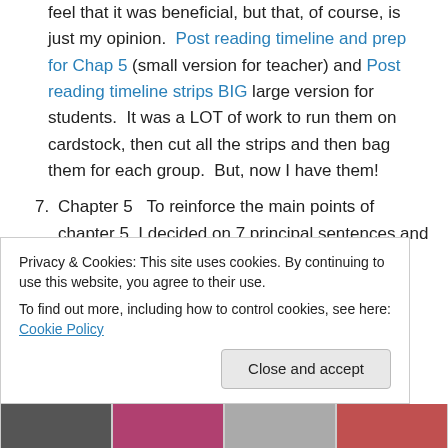feel that it was beneficial, but that, of course, is just my opinion.  Post reading timeline and prep for Chap 5 (small version for teacher) and Post reading timeline strips BIG large version for students.  It was a LOT of work to run them on cardstock, then cut all the strips and then bag them for each group.  But, now I have them!
7. Chapter 5   To reinforce the main points of chapter 5, I decided on 7 principal sentences and created a rebus for each one.  With one class, they had all of them at one time on their individual papers; with another class I
Privacy & Cookies: This site uses cookies. By continuing to use this website, you agree to their use.
To find out more, including how to control cookies, see here: Cookie Policy
[Figure (photo): Bottom strip showing partial thumbnail images]